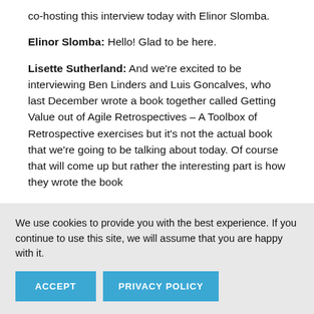co-hosting this interview today with Elinor Slomba.
Elinor Slomba: Hello! Glad to be here.
Lisette Sutherland: And we're excited to be interviewing Ben Linders and Luis Goncalves, who last December wrote a book together called Getting Value out of Agile Retrospectives – A Toolbox of Retrospective exercises but it's not the actual book that we're going to be talking about today. Of course that will come up but rather the interesting part is how they wrote the book
We use cookies to provide you with the best experience. If you continue to use this site, we will assume that you are happy with it.
ACCEPT
PRIVACY POLICY